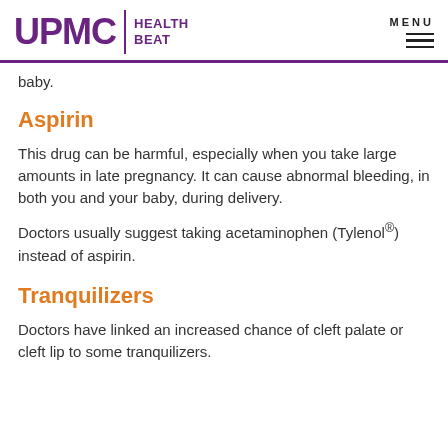UPMC | HEALTH BEAT
baby.
Aspirin
This drug can be harmful, especially when you take large amounts in late pregnancy. It can cause abnormal bleeding, in both you and your baby, during delivery.
Doctors usually suggest taking acetaminophen (Tylenol®) instead of aspirin.
Tranquilizers
Doctors have linked an increased chance of cleft palate or cleft lip to some tranquilizers.